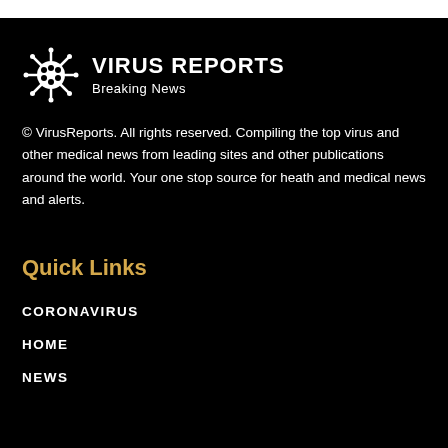[Figure (logo): Virus Reports logo with coronavirus icon and text 'VIRUS REPORTS Breaking News']
© VirusReports. All rights reserved. Compiling the top virus and other medical news from leading sites and other publications around the world. Your one stop source for heath and medical news and alerts.
Quick Links
CORONAVIRUS
HOME
NEWS